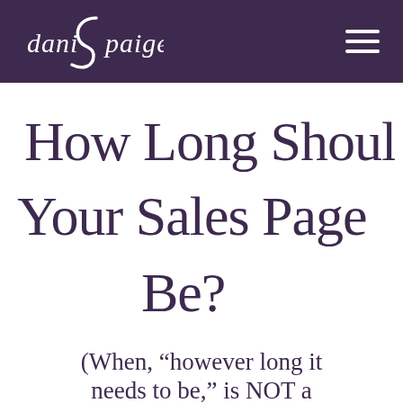dani Spaige [navigation logo and hamburger menu]
How Long Should Your Sales Page Be?
(When, "however long it needs to be," is NOT a